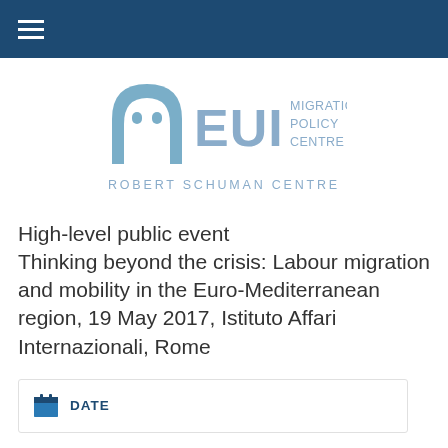≡
[Figure (logo): EUI Migration Policy Centre logo with arch icon and 'MIGRATION POLICY CENTRE' text in light blue]
ROBERT SCHUMAN CENTRE
High-level public event Thinking beyond the crisis: Labour migration and mobility in the Euro-Mediterranean region, 19 May 2017, Istituto Affari Internazionali, Rome
DATE